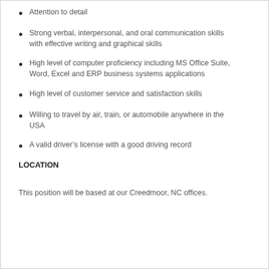Attention to detail
Strong verbal, interpersonal, and oral communication skills with effective writing and graphical skills
High level of computer proficiency including MS Office Suite, Word, Excel and ERP business systems applications
High level of customer service and satisfaction skills
Willing to travel by air, train, or automobile anywhere in the USA
A valid driver’s license with a good driving record
LOCATION
This position will be based at our Creedmoor, NC offices.